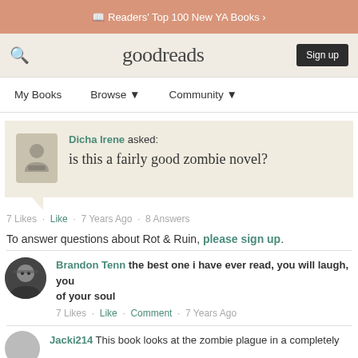Readers' Top 100 New YA Books ›
[Figure (screenshot): Goodreads website navigation bar with search icon, logo, and Sign up button]
My Books   Browse ▾   Community ▾
Dicha Irene asked: is this a fairly good zombie novel?
7 Likes · Like · 7 Years Ago · 8 Answers
To answer questions about Rot & Ruin, please sign up.
Brandon Tenn the best one i have ever read. you will laugh, you of your soul
7 Likes · Like · Comment · 7 Years Ago
Jacki214 This book looks at the zombie plague in a completely